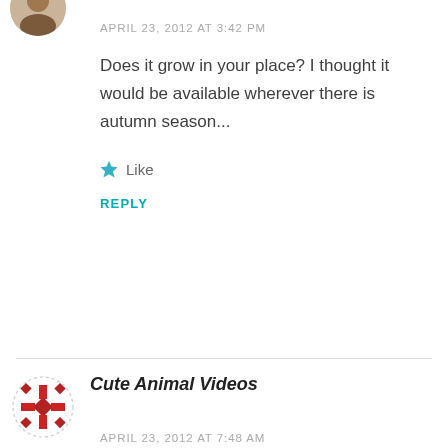[Figure (photo): Partial circular avatar photo of a person, cropped at top of page]
APRIL 23, 2012 AT 3:42 PM
Does it grow in your place? I thought it would be available wherever there is autumn season...
Like
REPLY
Cute Animal Videos
[Figure (logo): Red and white geometric snowflake/star logo for Cute Animal Videos]
APRIL 23, 2012 AT 7:48 AM
Kakis are good but hachiya persimmons are much much sweeter. You just have to wait until